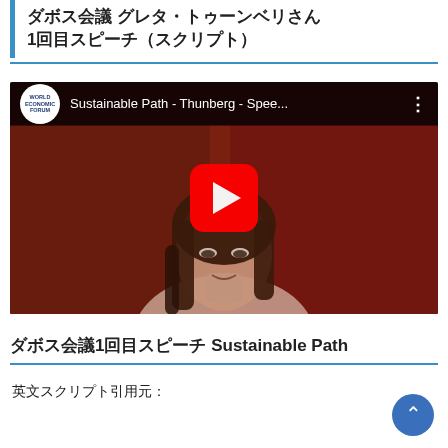ダボス会議 グレタ・トゥーンベリさん 1回目スピーチ（スクリプト）
[Figure (screenshot): YouTube video embed showing a World Economic Forum video titled 'Sustainable Path - Thunberg - Spee...' with a play button overlay, featuring a young woman (Greta Thunberg) against a dark red background.]
ダボス会議1回目スピーチ Sustainable Path
英文スクリプト引用元：